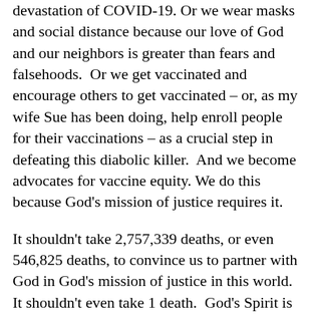devastation of COVID-19. Or we wear masks and social distance because our love of God and our neighbors is greater than fears and falsehoods. Or we get vaccinated and encourage others to get vaccinated – or, as my wife Sue has been doing, help enroll people for their vaccinations – as a crucial step in defeating this diabolic killer. And we become advocates for vaccine equity. We do this because God's mission of justice requires it.
It shouldn't take 2,757,339 deaths, or even 546,825 deaths, to convince us to partner with God in God's mission of justice in this world. It shouldn't even take 1 death. God's Spirit is working like there's no tomorrow carrying out God's justice in the world. And you know, there may not be for our neighbors, for you or for me.
One death is one too many. May we strive, in the power of God's Spirit, to bring justice to those in our communities and our contexts for the sake of each one